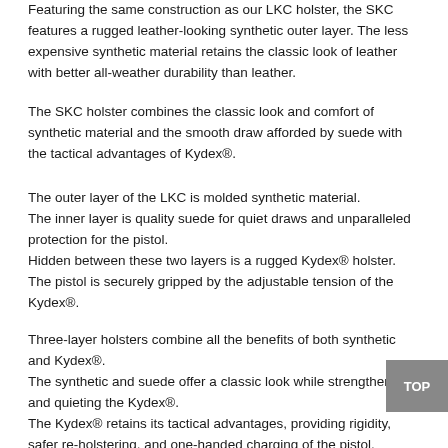Featuring the same construction as our LKC holster, the SKC features a rugged leather-looking synthetic outer layer. The less expensive synthetic material retains the classic look of leather with better all-weather durability than leather.
The SKC holster combines the classic look and comfort of synthetic material and the smooth draw afforded by suede with the tactical advantages of Kydex®.
The outer layer of the LKC is molded synthetic material.
The inner layer is quality suede for quiet draws and unparalleled protection for the pistol.
Hidden between these two layers is a rugged Kydex® holster.
The pistol is securely gripped by the adjustable tension of the Kydex®.
Three-layer holsters combine all the benefits of both synthetic and Kydex®.
The synthetic and suede offer a classic look while strengthening and quieting the Kydex®.
The Kydex® retains its tactical advantages, providing rigidity, safer re-holstering, and one-handed charging of the pistol.
The adjustable tension of the Kydex® provides a smooth, consistent draw from the first draw to the last with no stretching